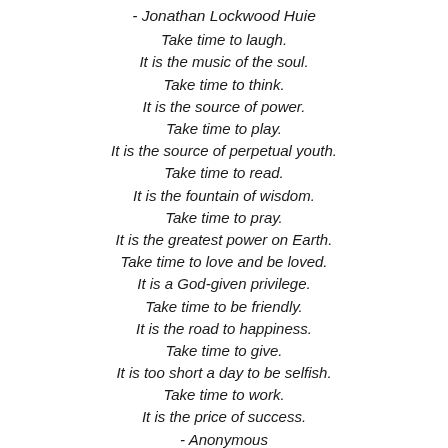- Jonathan Lockwood Huie
Take time to laugh.
It is the music of the soul.
Take time to think.
It is the source of power.
Take time to play.
It is the source of perpetual youth.
Take time to read.
It is the fountain of wisdom.
Take time to pray.
It is the greatest power on Earth.
Take time to love and be loved.
It is a God-given privilege.
Take time to be friendly.
It is the road to happiness.
Take time to give.
It is too short a day to be selfish.
Take time to work.
It is the price of success.
- Anonymous
Grin your smile;
giggle your laugh;